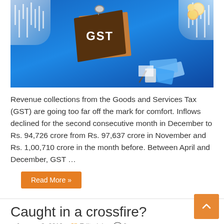[Figure (illustration): Illustration showing a cardboard box labeled 'GST' surrounded by financial elements: candlestick charts in the background, money bills, a calculator, coins, and hands exchanging items, all on a blue background.]
Revenue collections from the Goods and Services Tax (GST) are going too far off the mark for comfort. Inflows declined for the second consecutive month in December to Rs. 94,726 crore from Rs. 97,637 crore in November and Rs. 1,00,710 crore in the month before. Between April and December, GST …
Read More »
Caught in a crossfire?
January 3, 2019  Editorials  0
[Figure (photo): Partial photo visible at bottom of page showing a dark blue/indigo financial or urban scene.]